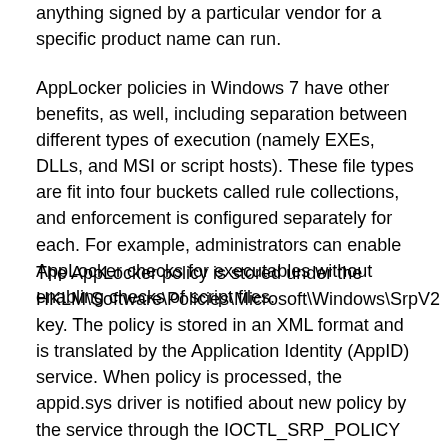anything signed by a particular vendor for a specific product name can run.
AppLocker policies in Windows 7 have other benefits, as well, including separation between different types of execution (namely EXEs, DLLs, and MSI or script hosts). These file types are fit into four buckets called rule collections, and enforcement is configured separately for each. For example, administrators can enable AppLocker checks for executables without enabling checks of script files.
The AppLocker policy is stored under the HKLM\Software\Policies\Microsoft\Windows\SrpV2 key. The policy is stored in an XML format and is translated by the Application Identity (AppID) service. When policy is processed, the appid.sys driver is notified about new policy by the service through the IOCTL_SRP_POLICY and the driver will reload the policy.